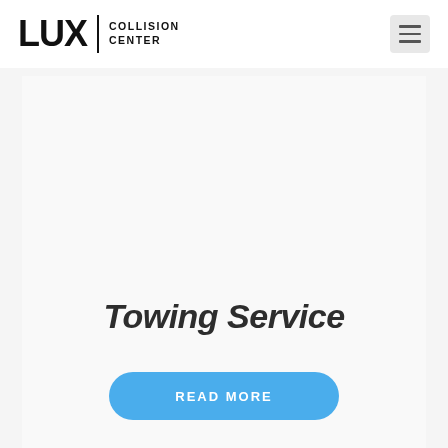LUX | COLLISION CENTER
Towing Service
READ MORE